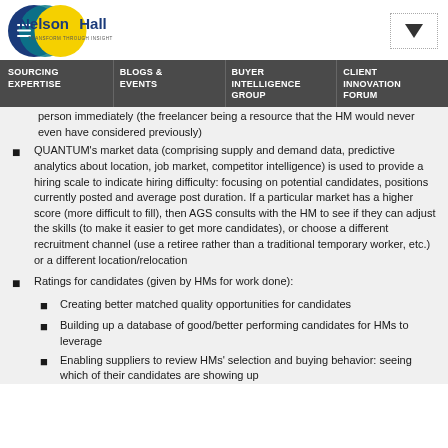[Figure (logo): NelsonHall logo with blue and yellow circles and text 'TRANSFORM THROUGH INSIGHT']
SOURCING EXPERTISE | BLOGS & EVENTS | BUYER INTELLIGENCE GROUP | CLIENT INNOVATION FORUM
person immediately (the freelancer being a resource that the HM would never even have considered previously)
QUANTUM's market data (comprising supply and demand data, predictive analytics about location, job market, competitor intelligence) is used to provide a hiring scale to indicate hiring difficulty: focusing on potential candidates, positions currently posted and average post duration. If a particular market has a higher score (more difficult to fill), then AGS consults with the HM to see if they can adjust the skills (to make it easier to get more candidates), or choose a different recruitment channel (use a retiree rather than a traditional temporary worker, etc.) or a different location/relocation
Ratings for candidates (given by HMs for work done):
Creating better matched quality opportunities for candidates
Building up a database of good/better performing candidates for HMs to leverage
Enabling suppliers to review HMs' selection and buying behavior: seeing which of their candidates are showing up